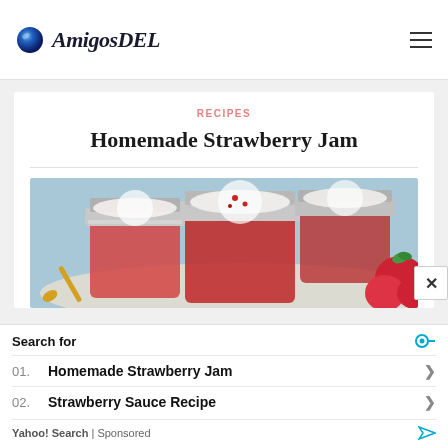AmigosDEL
RECIPES
Homemade Strawberry Jam
[Figure (photo): Three mason jars of homemade strawberry jam with decorative white fabric lids tied with ribbon, fresh strawberries beside them on a light blue background]
01. Homemade Strawberry Jam
02. Strawberry Sauce Recipe
Yahoo! Search | Sponsored